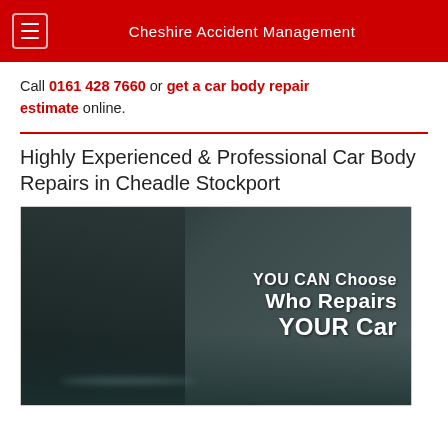Cheshire Accident Management
Call 0161 428 7660 or get a car body repair estimate online.
Highly Experienced & Professional Car Body Repairs in Cheadle Stockport
[Figure (photo): Promotional image showing a mechanic inspecting a car with text overlay: YOU CAN Choose Who Repairs YOUR Car]